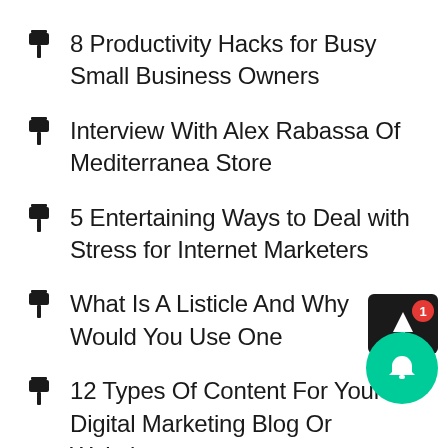8 Productivity Hacks for Busy Small Business Owners
Interview With Alex Rabassa Of Mediterranea Store
5 Entertaining Ways to Deal with Stress for Internet Marketers
What Is A Listicle And Why Would You Use One
12 Types Of Content For Your Digital Marketing Blog Or Website
Are You Going Broke Trying To Start An Online Business?
How To Keep Or Grow The Money You Make